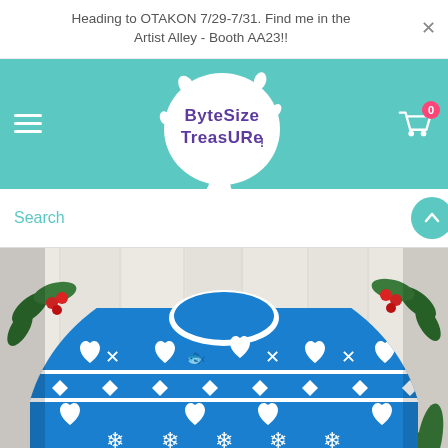Heading to OTAKON 7/29-7/31. Find me in the Artist Alley - Booth AA23!!
[Figure (logo): Byte Size Treasure logo — white speech bubble with a shark, purple hand-lettered text reading 'Byte Size Treasure', on a teal background]
Search
[Figure (photo): Blue ugly Christmas sweater laid flat on a white wood background with holiday decorations. The sweater features white Nordic-style patterns including hearts, fish/Pisces symbols, anchors, snowflakes, and geometric designs.]